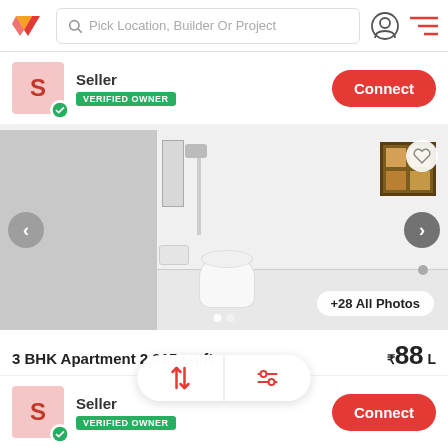Pick Location, Builder Or Project
Seller
VERIFIED OWNER
Connect
[Figure (photo): Bathroom interior with shower, mirror, toilet, sink, and a window with wooden frame. Shows +28 All Photos button.]
3 BHK Apartment 2,015 sq.ft.
Vedic Vedic Village Green, at, Kolkata
3 BHK Ready to move in Residential Property for Sale in Raj... More
₹88 L
Seller
VERIFIED OWNER
Connect